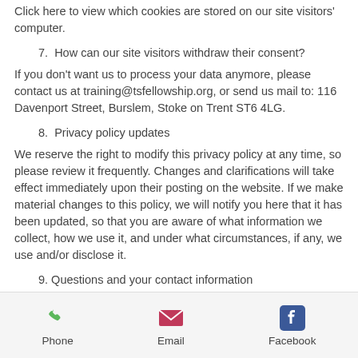Click here to view which cookies are stored on our site visitors' computer.
7.  How can our site visitors withdraw their consent?
If you don't want us to process your data anymore, please contact us at training@tsfellowship.org, or send us mail to: 116 Davenport Street, Burslem, Stoke on Trent ST6 4LG.
8.  Privacy policy updates
We reserve the right to modify this privacy policy at any time, so please review it frequently. Changes and clarifications will take effect immediately upon their posting on the website. If we make material changes to this policy, we will notify you here that it has been updated, so that you are aware of what information we collect, how we use it, and under what circumstances, if any, we use and/or disclose it.
9. Questions and your contact information
[Figure (infographic): Footer bar with Phone, Email, and Facebook contact icons and labels]